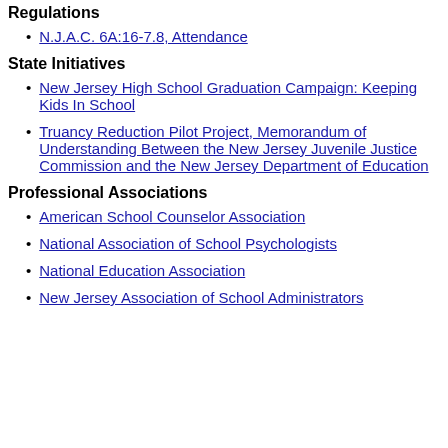Regulations
N.J.A.C. 6A:16-7.8, Attendance
State Initiatives
New Jersey High School Graduation Campaign: Keeping Kids In School
Truancy Reduction Pilot Project, Memorandum of Understanding Between the New Jersey Juvenile Justice Commission and the New Jersey Department of Education
Professional Associations
American School Counselor Association
National Association of School Psychologists
National Education Association
New Jersey Association of School Administrators